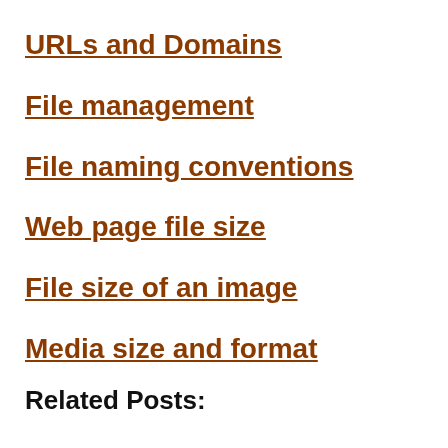URLs and Domains
File management
File naming conventions
Web page file size
File size of an image
Media size and format
Related Posts: